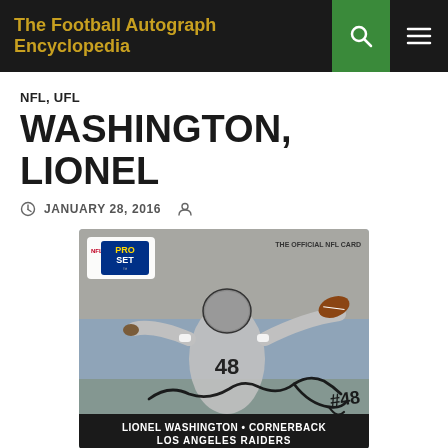The Football Autograph Encyclopedia
NFL, UFL
WASHINGTON, LIONEL
JANUARY 28, 2016
[Figure (photo): NFL Pro Set trading card showing Lionel Washington #48, cornerback for the Los Angeles Raiders, with arms outstretched in celebration. Card is autographed with signature 'Lionel Washington #48'. Card text reads: THE OFFICIAL NFL CARD, NFL PRO SET, LIONEL WASHINGTON • CORNERBACK, LOS ANGELES RAIDERS]